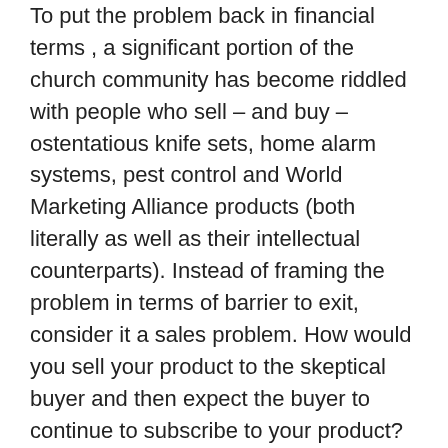To put the problem back in financial terms , a significant portion of the church community has become riddled with people who sell – and buy – ostentatious knife sets, home alarm systems, pest control and World Marketing Alliance products (both literally as well as their intellectual counterparts). Instead of framing the problem in terms of barrier to exit, consider it a sales problem. How would you sell your product to the skeptical buyer and then expect the buyer to continue to subscribe to your product?
I find it intellectual laziness to pose such a question without the slightest hint of a solution. So I ask in all sincerity, give me your best elevator sell/speech. Why should I buy your product? Before you answer, bear in mind my